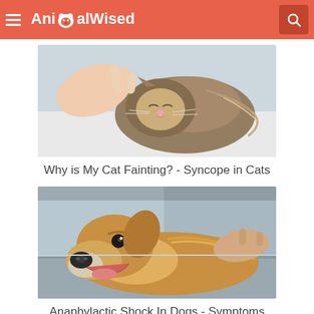AnimalWised
[Figure (photo): A fluffy long-haired cat lying down with eyes closed while a human hand gently pets its head. The cat appears relaxed or unwell on a white surface.]
Why is My Cat Fainting? - Syncope in Cats
[Figure (photo): A golden retriever dog lying on a metal veterinary table with its mouth open, being held by a person wearing a ring. The dog looks at the camera in a veterinary setting.]
Anaphylactic Shock In Dogs - Symptoms And Treatment